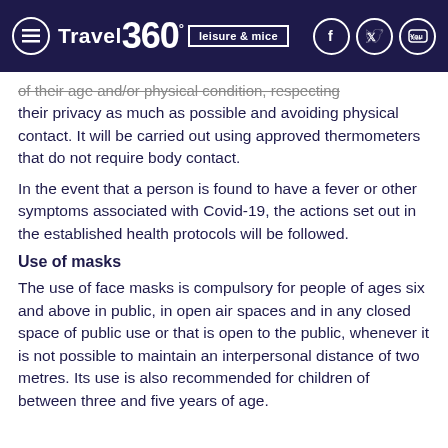Travel 360° leisure & mice
of their age and/or physical condition, respecting their privacy as much as possible and avoiding physical contact. It will be carried out using approved thermometers that do not require body contact.
In the event that a person is found to have a fever or other symptoms associated with Covid-19, the actions set out in the established health protocols will be followed.
Use of masks
The use of face masks is compulsory for people of ages six and above in public, in open air spaces and in any closed space of public use or that is open to the public, whenever it is not possible to maintain an interpersonal distance of two metres. Its use is also recommended for children of between three and five years of age.